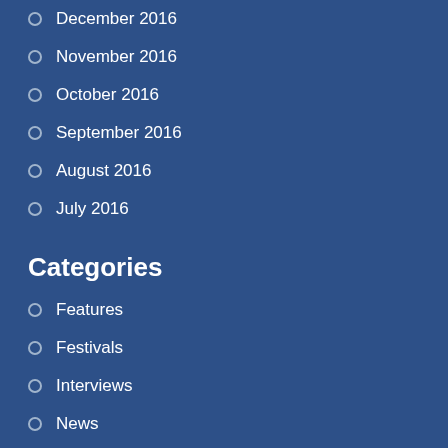December 2016
November 2016
October 2016
September 2016
August 2016
July 2016
Categories
Features
Festivals
Interviews
News
Reviews
What's On
Support This Site